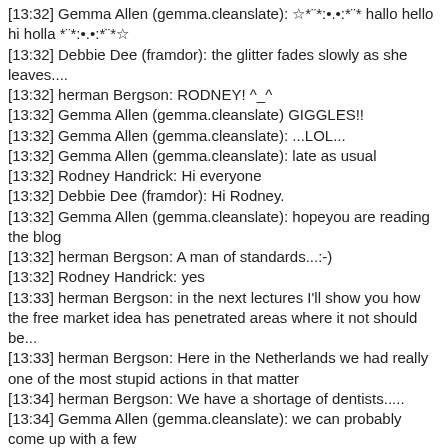[13:32] Gemma Allen (gemma.cleanslate): ☆*¨*:•.•:*¨* hallo hello hi holla *¨*:•.•:*¨*☆
[13:32] Debbie Dee (framdor): the glitter fades slowly as she leaves....
[13:32] herman Bergson: RODNEY! ^_^
[13:32] Gemma Allen (gemma.cleanslate) GIGGLES!!
[13:32] Gemma Allen (gemma.cleanslate): ...LOL...
[13:32] Gemma Allen (gemma.cleanslate): late as usual
[13:32] Rodney Handrick: Hi everyone
[13:32] Debbie Dee (framdor): Hi Rodney.
[13:32] Gemma Allen (gemma.cleanslate): hopeyou are reading the blog
[13:32] herman Bergson: A man of standards...:-)
[13:32] Rodney Handrick: yes
[13:33] herman Bergson: in the next lectures I'll show you how the free market idea has penetrated areas where it not should be...
[13:33] herman Bergson: Here in the Netherlands we had really one of the most stupid actions in that matter
[13:34] herman Bergson: We have a shortage of dentists.....
[13:34] Gemma Allen (gemma.cleanslate): we can probably come up with a few